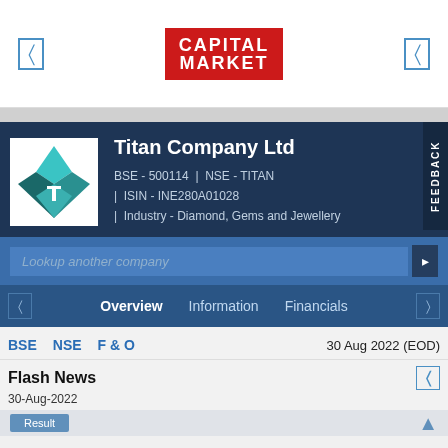CAPITAL MARKET
[Figure (logo): Titan Company Ltd logo - teal diamond/star shape with T letter]
Titan Company Ltd
BSE - 500114 | NSE - TITAN
ISIN - INE280A01028
Industry - Diamond, Gems and Jewellery
Lookup another company
Overview | Information | Financials
BSE  NSE  F & O   30 Aug 2022 (EOD)
Flash News
30-Aug-2022